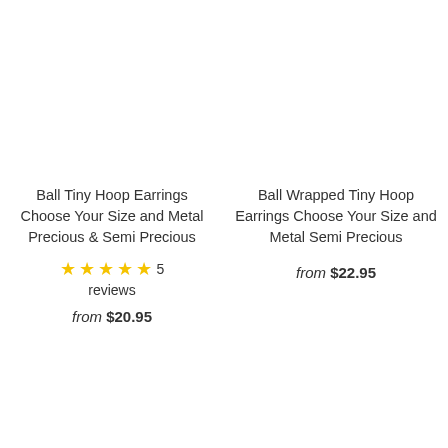Ball Tiny Hoop Earrings Choose Your Size and Metal Precious & Semi Precious
★★★★★ 5 reviews
from $20.95
Ball Wrapped Tiny Hoop Earrings Choose Your Size and Metal Semi Precious
from $22.95